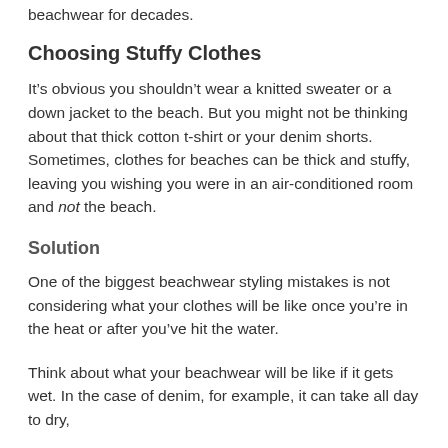beachwear for decades.
Choosing Stuffy Clothes
It’s obvious you shouldn’t wear a knitted sweater or a down jacket to the beach. But you might not be thinking about that thick cotton t-shirt or your denim shorts. Sometimes, clothes for beaches can be thick and stuffy, leaving you wishing you were in an air-conditioned room and not the beach.
Solution
One of the biggest beachwear styling mistakes is not considering what your clothes will be like once you’re in the heat or after you’ve hit the water.
Think about what your beachwear will be like if it gets wet. In the case of denim, for example, it can take all day to dry,